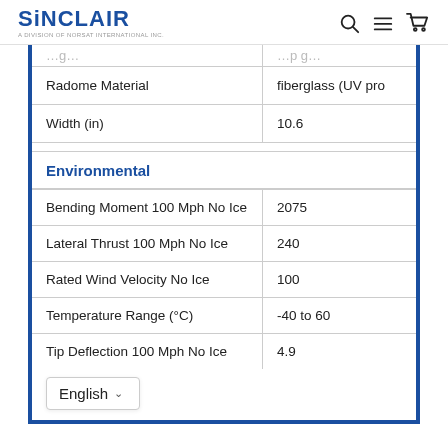SINCLAIR — A Division of Norsat International Inc. [logo, search, menu, cart icons]
|  |  |
| --- | --- |
| Radome Material | fiberglass (UV pro... |
| Width (in) | 10.6 |
| Environmental |  |
| --- | --- |
| Bending Moment 100 Mph No Ice | 2075 |
| Lateral Thrust 100 Mph No Ice | 240 |
| Rated Wind Velocity No Ice | 100 |
| Temperature Range (°C) | -40 to 60 |
| Tip Deflection 100 Mph No Ice | 4.9 |